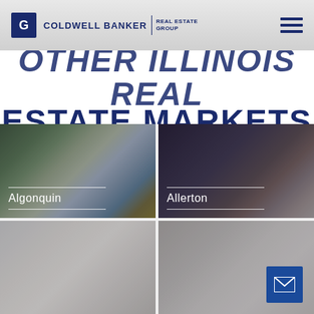COLDWELL BANKER | REAL ESTATE GROUP
OTHER ILLINOIS REAL ESTATE MARKETS
[Figure (photo): Algonquin - lake scene with pine trees in winter]
[Figure (photo): Allerton - interior room with wooden chairs and cushions]
[Figure (photo): Bottom left - interior room photo (partially visible)]
[Figure (photo): Bottom right - bedroom interior photo (partially visible)]